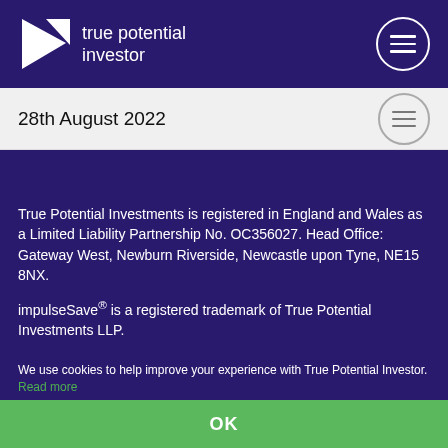true potential investor
28th August 2022
[Figure (illustration): Award ribbon/badge in red and white in top-left corner of purple section]
True Potential Investments is registered in England and Wales as a Limited Liability Partnership No. OC356027. Head Office: Gateway West, Newburn Riverside, Newcastle upon Tyne, NE15 8NX.
impulseSave® is a registered trademark of True Potential Investments LLP.
We use cookies to help improve your experience with True Potential Investor. Read more
OK